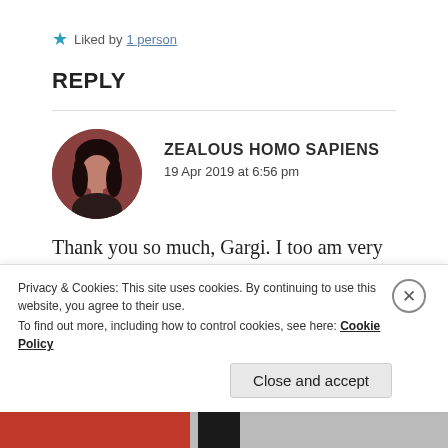★ Liked by 1 person
REPLY
ZEALOUS HOMO SAPIENS
19 Apr 2019 at 6:56 pm
Thank you so much, Gargi. I too am very happy to have been able to connect with you. You're a very warm hearted person and I'm glad to know
Privacy & Cookies: This site uses cookies. By continuing to use this website, you agree to their use.
To find out more, including how to control cookies, see here: Cookie Policy
Close and accept